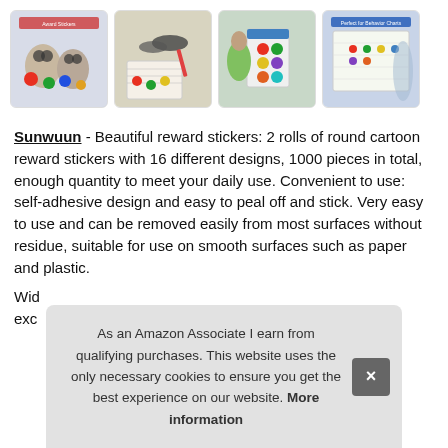[Figure (photo): Four product thumbnail images showing children with reward stickers, a sticker sheet with glasses and pencil, a boy holding a sticker chart, and a behavior chart on a wall]
Sunwuun - Beautiful reward stickers: 2 rolls of round cartoon reward stickers with 16 different designs, 1000 pieces in total, enough quantity to meet your daily use. Convenient to use: self-adhesive design and easy to peal off and stick. Very easy to use and can be removed easily from most surfaces without residue, suitable for use on smooth surfaces such as paper and plastic.
Wid
exc
As an Amazon Associate I earn from qualifying purchases. This website uses the only necessary cookies to ensure you get the best experience on our website. More information